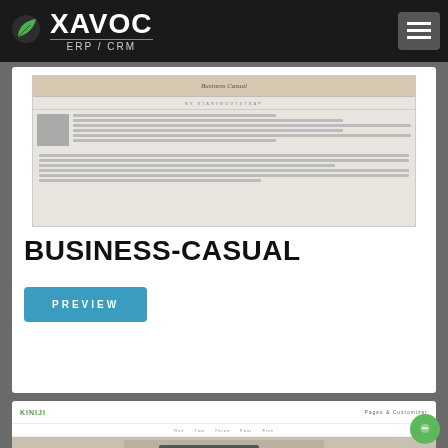XAVOC ERP/CRM
[Figure (screenshot): Screenshot preview of Business Casual theme showing a webpage with header, image and text content]
BUSINESS-CASUAL
PREVIEW
[Figure (screenshot): Partial screenshot preview of a second theme (KINIJI) showing navigation bar and a laptop on a desk photo]